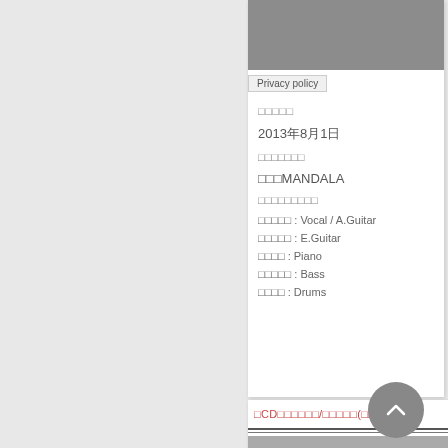Privacy policy
□□□□□
2013年8月1日
□□□□□□□
□□□MANDALA
□□□□□□□□□
□□□□□ : Vocal / A.Guitar
□□□□□ : E.Guitar
□□□□ : Piano
□□□□□ : Bass
□□□□ : Drums
□CD□□□□□□/□□□□□(□□□□□□)